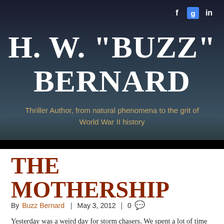[Figure (other): Website header banner with dark gradient background for author H. W. Buzz Bernard with social media icons (Facebook, Google+, LinkedIn) in top right corner]
H. W. "BUZZ" BERNARD
Thriller Author, from natural phenomena to the grit of World War II history
THE MOTHERSHIP
By Buzz Bernard | May 3, 2012 | 0
Yesterday was a weird day for storm chasers. We spent a lot of time